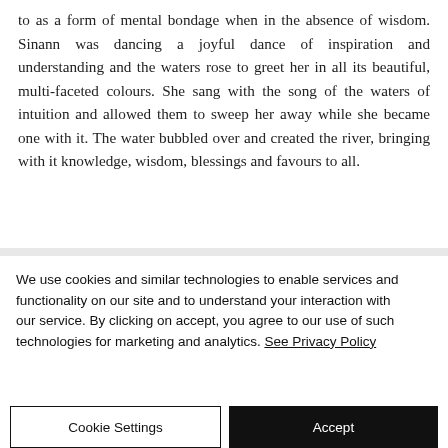to as a form of mental bondage when in the absence of wisdom. Sinann was dancing a joyful dance of inspiration and understanding and the waters rose to greet her in all its beautiful, multi-faceted colours. She sang with the song of the waters of intuition and allowed them to sweep her away while she became one with it. The water bubbled over and created the river, bringing with it knowledge, wisdom, blessings and favours to all.
We use cookies and similar technologies to enable services and functionality on our site and to understand your interaction with our service. By clicking on accept, you agree to our use of such technologies for marketing and analytics. See Privacy Policy
Cookie Settings
Accept